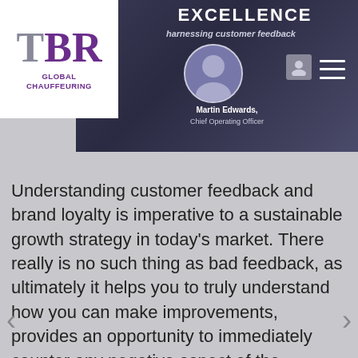[Figure (screenshot): TBR Global Chauffeuring logo on white background (left), and a dark banner with 'EXCELLENCE' heading, subtitle 'harnessing customer feedback', a circular profile photo of Martin Edwards Chief Operating Officer, user icon, and hamburger menu (right).]
Understanding customer feedback and brand loyalty is imperative to a sustainable growth strategy in today's market. There really is no such thing as bad feedback, as ultimately it helps you to truly understand how you can make improvements, provides an opportunity to immediately counter any negative aspect of the customer experience and relentlessly focus the lens on continually enhancing your service offering.